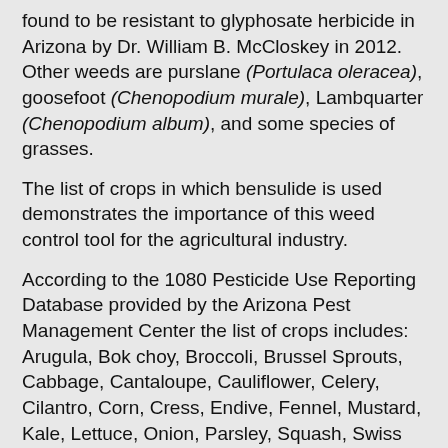found to be resistant to glyphosate herbicide in Arizona by Dr. William B. McCloskey in 2012. Other weeds are purslane (Portulaca oleracea), goosefoot (Chenopodium murale), Lambquarter (Chenopodium album), and some species of grasses.
The list of crops in which bensulide is used demonstrates the importance of this weed control tool for the agricultural industry.
According to the 1080 Pesticide Use Reporting Database provided by the Arizona Pest Management Center the list of crops includes: Arugula, Bok choy, Broccoli, Brussel Sprouts, Cabbage, Cantaloupe, Cauliflower, Celery, Cilantro, Corn, Cress, Endive, Fennel, Mustard, Kale, Lettuce, Onion, Parsley, Squash, Swiss chard, and others.
Please read the following contribution from Dr. Al Fournier on the EPA Notice- Petition to Revoke